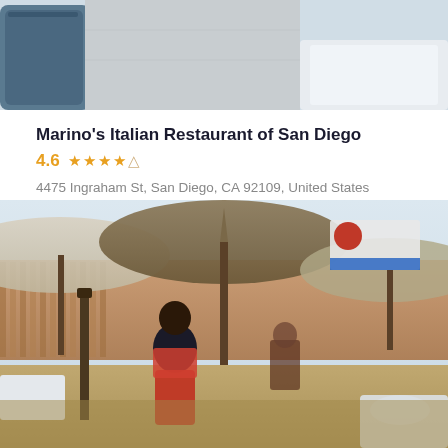[Figure (photo): Top portion of a restaurant interior photo showing blue/teal chair and white table setting, partially cropped]
Marino's Italian Restaurant of San Diego
4.6  ★★★★☆
4475 Ingraham St, San Diego, CA 92109, United States
[Figure (photo): Outdoor patio dining area with large brown/tan umbrellas, people seated at tables with white tablecloths, wooden fence backdrop, signage visible in upper right corner, warm sunny day]